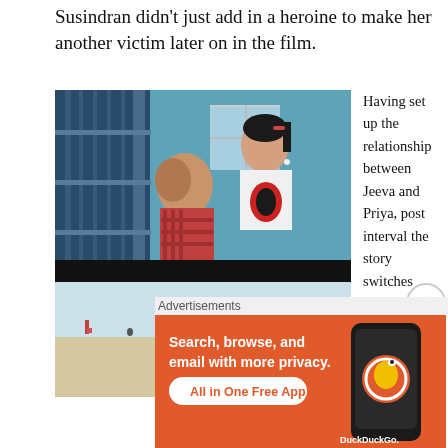Susindran didn't just add in a heroine to make her another victim later on in the film.
[Figure (photo): Two stacked film stills: top shows a man and woman in conversation near a staircase railing, bottom shows a woman at a beach under a blue and white umbrella]
Having set up the relationship between Jeeva and Priya, post interval the story switches back to the gang of
Advertisements
[Figure (screenshot): DuckDuckGo advertisement banner: 'Search, browse, and email with more privacy. All in One Free App' with phone graphic and DuckDuckGo logo]